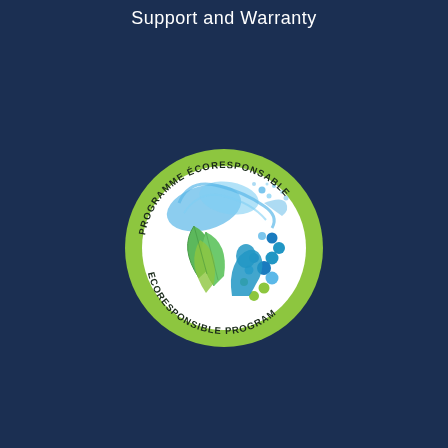Support and Warranty
[Figure (logo): PROGRAMME ÉCORESPONSABLE / ECORESPONSIBLE PROGRAM circular logo with green border, featuring water splash, green leaves, blue dots pattern and human silhouette in the center on white background]